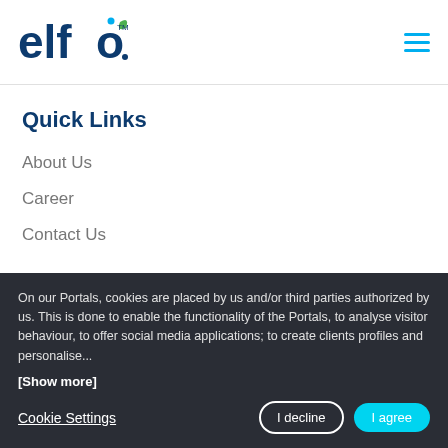[Figure (logo): elfo. logo with green leaf accent and blue dot above the o, with TM mark]
Quick Links
About Us
Career
Contact Us
On our Portals, cookies are placed by us and/or third parties authorized by us. This is done to enable the functionality of the Portals, to analyse visitor behaviour, to offer social media applications; to create clients profiles and personalise...
[Show more]
Cookie Settings
I decline
I agree